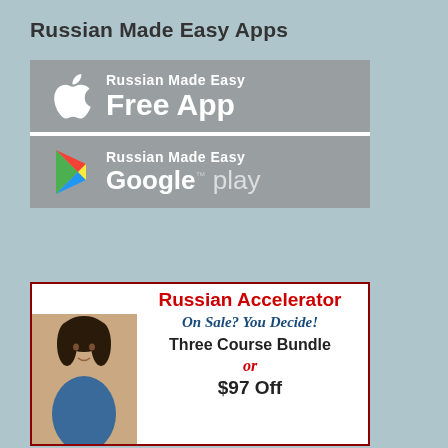Russian Made Easy Apps
[Figure (screenshot): App store button for Russian Made Easy Free App (iOS) with Apple logo icon on grey background]
[Figure (screenshot): Google Play button for Russian Made Easy on grey background with Google Play triangle logo]
[Figure (infographic): Advertisement for Russian Accelerator - On Sale? You Decide! Three Course Bundle or $97 Off, with photo of woman thinking, red and dark blue text on white background with dark red border]